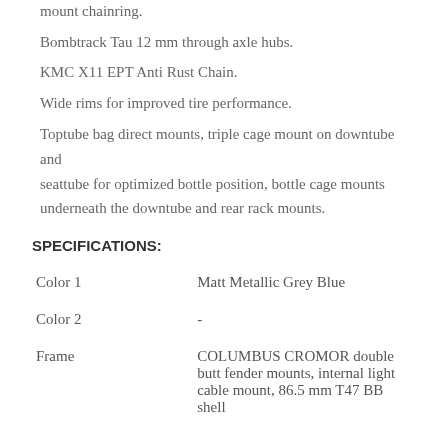mount chainring.
Bombtrack Tau 12 mm through axle hubs.
KMC X11 EPT Anti Rust Chain.
Wide rims for improved tire performance.
Toptube bag direct mounts, triple cage mount on downtube and seattube for optimized bottle position, bottle cage mounts underneath the downtube and rear rack mounts.
SPECIFICATIONS:
|  |  |
| --- | --- |
| Color 1 | Matt Metallic Grey Blue |
| Color 2 | - |
| Frame | COLUMBUS CROMOR double butt fender mounts, internal light cable mount, 86.5 mm T47 BB shell |